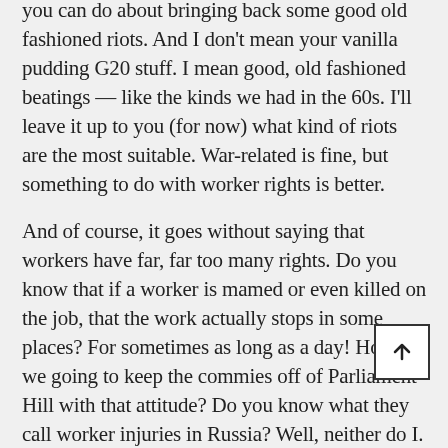you can do about bringing back some good old fashioned riots. And I don't mean your vanilla pudding G20 stuff. I mean good, old fashioned beatings — like the kinds we had in the 60s. I'll leave it up to you (for now) what kind of riots are the most suitable. War-related is fine, but something to do with worker rights is better.
And of course, it goes without saying that workers have far, far too many rights. Do you know that if a worker is mamed or even killed on the job, that the work actually stops in some places? For sometimes as long as a day! How are we going to keep the commies off of Parliament Hill with that attitude? Do you know what they call worker injuries in Russia? Well, neither do I. But they have lots of tanks and that's pretty much all I think needs to be said.
Lastly, I'd like to see what you can about the law gravity and the fact that the sky is ALWAYS blue. I don't think this is appropriate. I'm not thinking about